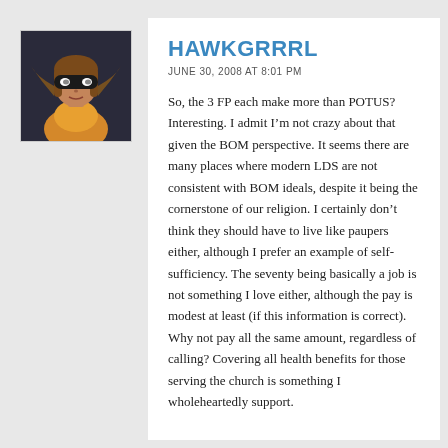[Figure (illustration): Avatar image of a cartoon female superhero character (Hawkgirl) with a black mask, brown hair, and yellow/orange costume against a dark background]
HAWKGRRRL
JUNE 30, 2008 AT 8:01 PM
So, the 3 FP each make more than POTUS? Interesting. I admit I’m not crazy about that given the BOM perspective. It seems there are many places where modern LDS are not consistent with BOM ideals, despite it being the cornerstone of our religion. I certainly don’t think they should have to live like paupers either, although I prefer an example of self-sufficiency. The seventy being basically a job is not something I love either, although the pay is modest at least (if this information is correct). Why not pay all the same amount, regardless of calling? Covering all health benefits for those serving the church is something I wholeheartedly support.